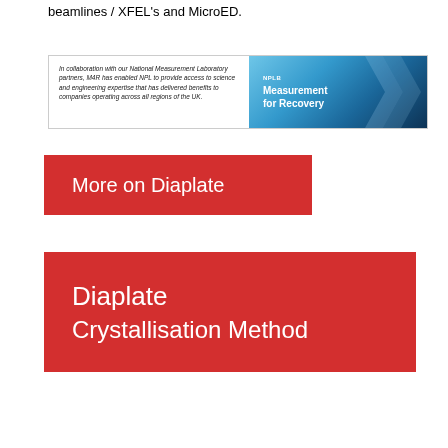beamlines / XFEL's and MicroED.
[Figure (other): Two-panel banner: left panel with italic text about National Measurement Laboratory partners and M4R enabling NPL to provide access to science and engineering expertise; right panel with blue gradient background showing 'NPLB' label and 'Measurement for Recovery' title with chevron arrows.]
More on Diaplate
Diaplate
Crystallisation Method